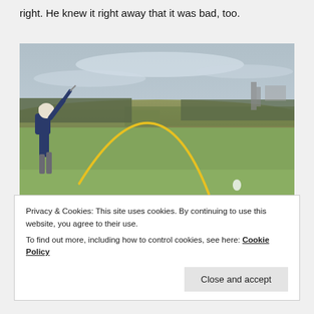right. He knew it right away that it was bad, too.
[Figure (photo): A golfer mid-swing on a golf course with a yellow ball trajectory arc overlaid on the image, crowds and industrial structures visible in background]
Privacy & Cookies: This site uses cookies. By continuing to use this website, you agree to their use.
To find out more, including how to control cookies, see here: Cookie Policy
Close and accept